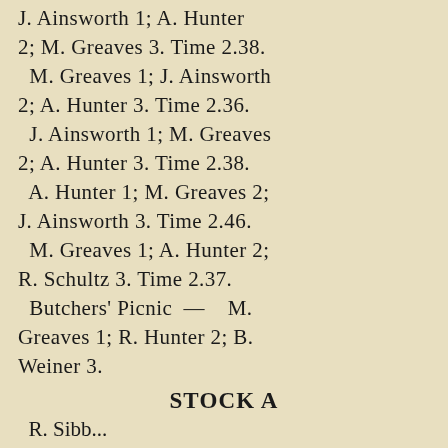J. Ainsworth 1; A. Hunter 2; M. Greaves 3. Time 2.38. M. Greaves 1; J. Ainsworth 2; A. Hunter 3. Time 2.36. J. Ainsworth 1; M. Greaves 2; A. Hunter 3. Time 2.38. A. Hunter 1; M. Greaves 2; J. Ainsworth 3. Time 2.46. M. Greaves 1; A. Hunter 2; R. Schultz 3. Time 2.37. Butchers' Picnic — M. Greaves 1; R. Hunter 2; B. Weiner 3.
STOCK A
R. Sibb...